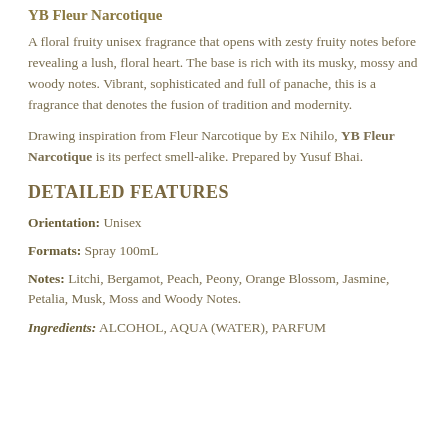YB Fleur Narcotique
A floral fruity unisex fragrance that opens with zesty fruity notes before revealing a lush, floral heart. The base is rich with its musky, mossy and woody notes. Vibrant, sophisticated and full of panache, this is a fragrance that denotes the fusion of tradition and modernity.
Drawing inspiration from Fleur Narcotique by Ex Nihilo, YB Fleur Narcotique is its perfect smell-alike. Prepared by Yusuf Bhai.
DETAILED FEATURES
Orientation: Unisex
Formats: Spray 100mL
Notes: Litchi, Bergamot, Peach, Peony, Orange Blossom, Jasmine, Petalia, Musk, Moss and Woody Notes.
Ingredients: ALCOHOL, AQUA (WATER), PARFUM